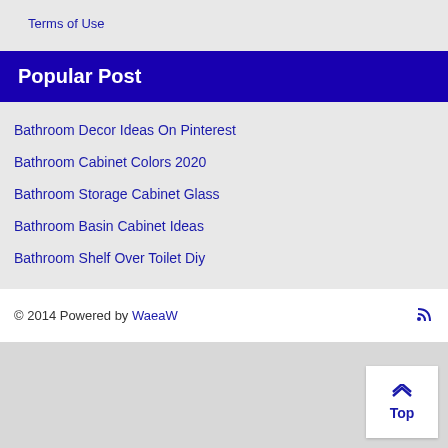Terms of Use
Popular Post
Bathroom Decor Ideas On Pinterest
Bathroom Cabinet Colors 2020
Bathroom Storage Cabinet Glass
Bathroom Basin Cabinet Ideas
Bathroom Shelf Over Toilet Diy
© 2014 Powered by WaeaW
Top